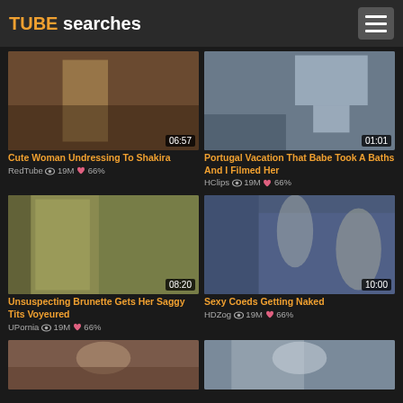TUBE searches
[Figure (screenshot): Video thumbnail: woman undressing, duration 06:57]
Cute Woman Undressing To Shakira
RedTube 👁 19M ♥ 66%
[Figure (screenshot): Video thumbnail: bathroom scene, duration 01:01]
Portugal Vacation That Babe Took A Baths And I Filmed Her
HClips 👁 19M ♥ 66%
[Figure (screenshot): Video thumbnail: shower room scene, duration 08:20]
Unsuspecting Brunette Gets Her Saggy Tits Voyeured
UPornia 👁 19M ♥ 66%
[Figure (screenshot): Video thumbnail: two women in room, duration 10:00]
Sexy Coeds Getting Naked
HDZog 👁 19M ♥ 66%
[Figure (screenshot): Partial video thumbnail: woman with dark hair]
[Figure (screenshot): Partial video thumbnail: woman in blue shirt]